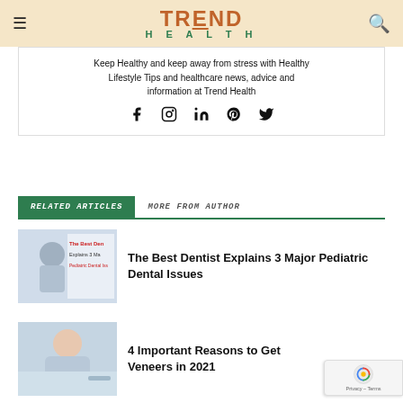TREND HEALTH
Keep Healthy and keep away from stress with Healthy Lifestyle Tips and healthcare news, advice and information at Trend Health
RELATED ARTICLES   MORE FROM AUTHOR
[Figure (photo): Thumbnail image of a child touching their cheek with text overlaid reading 'The Best Dentist Explains 3 Major Pediatric Dental Issues']
The Best Dentist Explains 3 Major Pediatric Dental Issues
[Figure (photo): Thumbnail image of a woman smiling at a dental office]
4 Important Reasons to Get Veneers in 2021